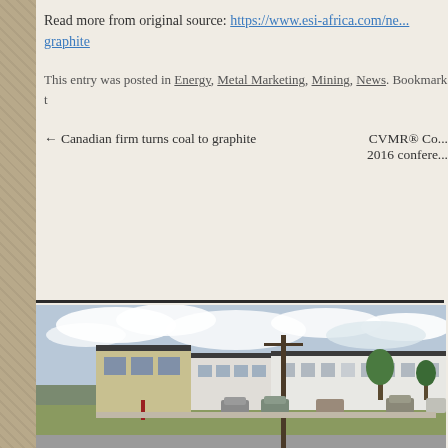Read more from original source: https://www.esi-africa.com/ne... graphite
This entry was posted in Energy, Metal Marketing, Mining, News. Bookmark t...
← Canadian firm turns coal to graphite   CVMR® Co... 2016 confere...
[Figure (photo): Exterior photo of a low-rise industrial or commercial building with a parking lot, trees, cloudy sky, and a utility pole in the foreground.]